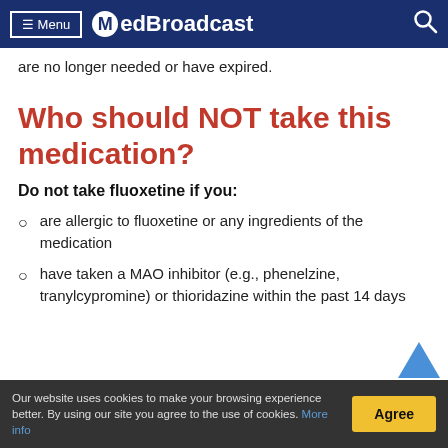Menu | MedBroadcast
are no longer needed or have expired.
Who should NOT take this medication?
Do not take fluoxetine if you:
are allergic to fluoxetine or any ingredients of the medication
have taken a MAO inhibitor (e.g., phenelzine, tranylcypromine) or thioridazine within the past 14 days
Our website uses cookies to make your browsing experience better. By using our site you agree to the use of cookies. More info